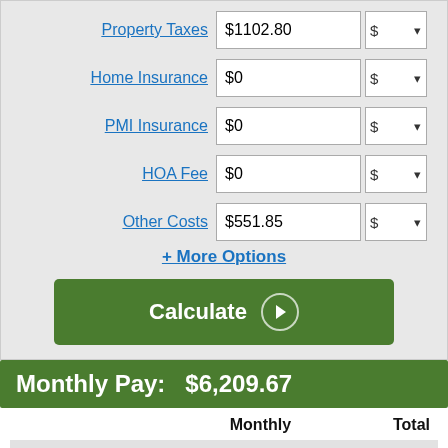|  | Value | Unit |
| --- | --- | --- |
| Property Taxes | $1102.80 | $ ▾ |
| Home Insurance | $0 | $ ▾ |
| PMI Insurance | $0 | $ ▾ |
| HOA Fee | $0 | $ ▾ |
| Other Costs | $551.85 | $ ▾ |
+ More Options
Calculate
Monthly Pay:   $6,209.67
|  | Monthly | Total |
| --- | --- | --- |
| Mortgage Payment | $6,209.67 | $1,862,899.59 |
| Property Tax | $91.90 | $27,570.00 |
| Other Costs | $45.00 | $10,786.05 |